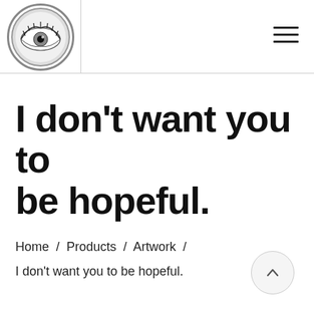[Figure (logo): Circular logo with a close-up eye illustration, black and white, with a metallic border]
I don’t want you to be hopeful.
Home / Products / Artwork /
I don’t want you to be hopeful.